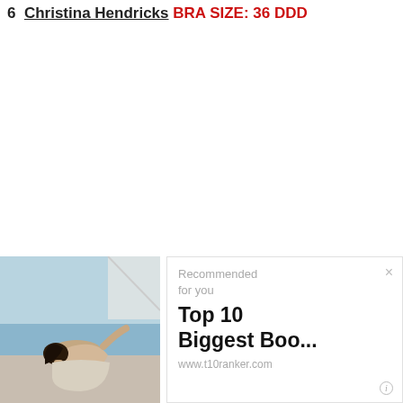6  Christina Hendricks BRA SIZE: 36 DDD
[Figure (photo): Photo of a woman leaning back outdoors near water, wearing a light-colored top, with blue sky and water in background]
Recommended for you
Top 10 Biggest Boo...
www.t10ranker.com